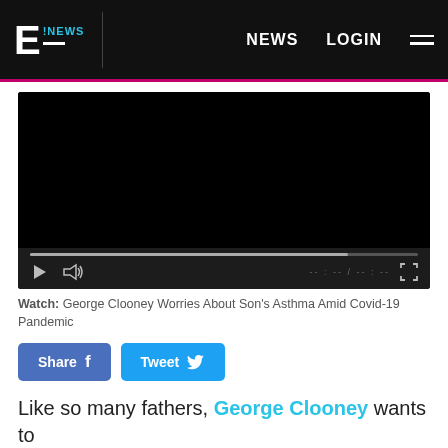E! NEWS  NEWS  LOGIN
[Figure (screenshot): Black video player with progress bar and controls (play, volume, fullscreen) showing a paused/blank video]
Watch: George Clooney Worries About Son's Asthma Amid Covid-19 Pandemic
Share  Tweet
Like so many fathers, George Clooney wants to